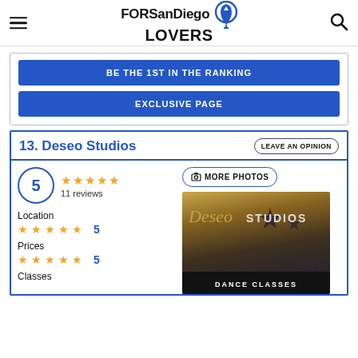FORSanDiego LOVERS
BE THE 1ST IN THE RANKING
EXCLUSIVE PAGE
13. Deseo Studios
LEAVE AN OPINION
5 — 11 reviews
MORE PHOTOS
Location
5
Prices
5
Classes
[Figure (photo): Deseo Studios storefront sign reading 'Deseo Studios - Dance Classes']